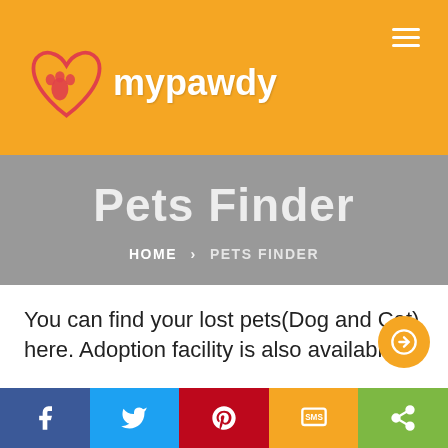[Figure (logo): mypawdy logo: red heart with paw print inside, text 'mypawdy' in white on yellow header background]
Pets Finder
HOME > PETS FINDER
You can find your lost pets(Dog and Cat) here. Adoption facility is also available
[Figure (infographic): Social share bar with Facebook, Twitter, Pinterest, SMS, and Share buttons]